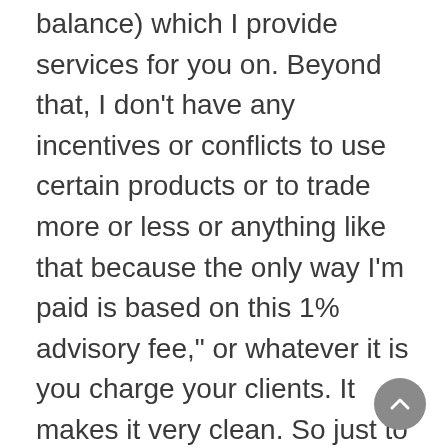balance) which I provide services for you on. Beyond that, I don't have any incentives or conflicts to use certain products or to trade more or less or anything like that because the only way I'm paid is based on this 1% advisory fee," or whatever it is you charge your clients. It makes it very clean. So just to be clear, you as the RIA would not receive any portion of the transaction-based pricing or the asset-based pricing.
Let's go through both of those here one at a time. We'll start with transaction-based